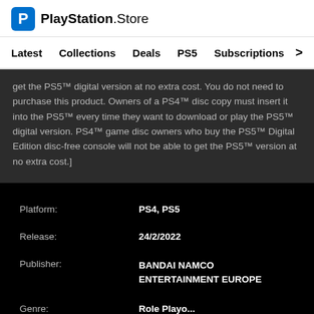PlayStation.Store
Latest   Collections   Deals   PS5   Subscriptions >
get the PS5™ digital version at no extra cost. You do not need to purchase this product. Owners of a PS4™ disc copy must insert it into the PS5™ every time they want to download or play the PS5™ digital version. PS4™ game disc owners who buy the PS5™ Digital Edition disc-free console will not be able to get the PS5™ version at no extra cost.]
| Field | Value |
| --- | --- |
| Platform: | PS4, PS5 |
| Release: | 24/2/2022 |
| Publisher: | BANDAI NAMCO ENTERTAINMENT EUROPE |